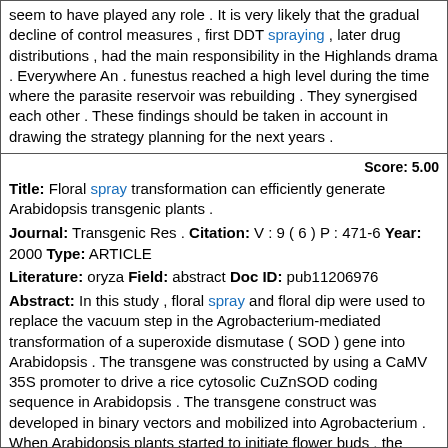seem to have played any role . It is very likely that the gradual decline of control measures , first DDT spraying , later drug distributions , had the main responsibility in the Highlands drama . Everywhere An . funestus reached a high level during the time where the parasite reservoir was rebuilding . They synergised each other . These findings should be taken in account in drawing the strategy planning for the next years .
Score: 5.00
Title: Floral spray transformation can efficiently generate Arabidopsis transgenic plants .
Journal: Transgenic Res . Citation: V : 9 ( 6 ) P : 471-6 Year: 2000 Type: ARTICLE
Literature: oryza Field: abstract Doc ID: pub11206976
Abstract: In this study , floral spray and floral dip were used to replace the vacuum step in the Agrobacterium-mediated transformation of a superoxide dismutase ( SOD ) gene into Arabidopsis . The transgene was constructed by using a CaMV 35S promoter to drive a rice cytosolic CuZnSOD coding sequence in Arabidopsis . The transgene construct was developed in binary vectors and mobilized into Agrobacterium . When Arabidopsis plants started to initiate flower buds , the primary inflorescence shoots were removed and then transformed by floral spray or floral dip . More than 300 transgenic plants were generated to assess the feasibility of floral spray used in the in planta transformation . The result indicates that the floral spray method of Agrobacterium can achieve rates of in planta transformation comparable to the vacuum-infiltration and floral dip methods . The floral spray method opens up the possibility of in planta transformation of plant species which are too large for dipping or vacuum infiltration .